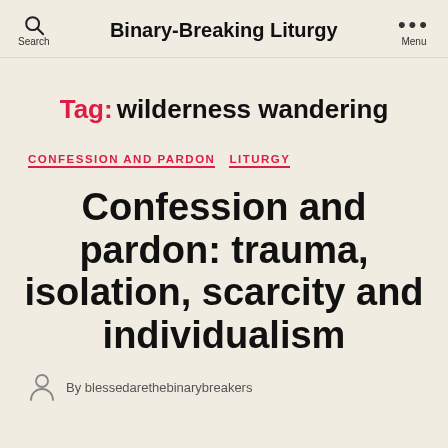Binary-Breaking Liturgy | Search | Menu
Tag: wilderness wandering
CONFESSION AND PARDON  LITURGY
Confession and pardon: trauma, isolation, scarcity and individualism
By blessedarethebinarybreakers